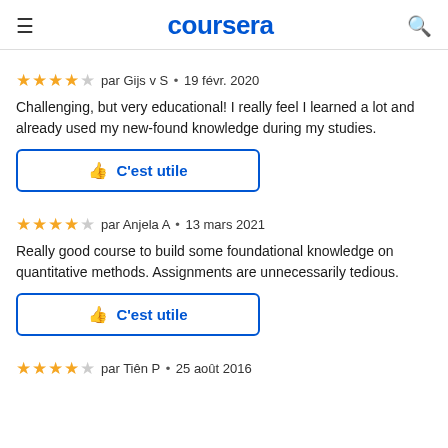coursera
par Gijs v S • 19 févr. 2020
Challenging, but very educational! I really feel I learned a lot and already used my new-found knowledge during my studies.
C'est utile
par Anjela A • 13 mars 2021
Really good course to build some foundational knowledge on quantitative methods. Assignments are unnecessarily tedious.
C'est utile
par Tiên P • 25 août 2016